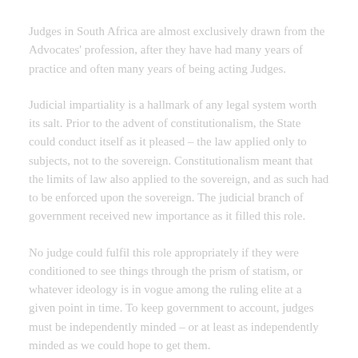Judges in South Africa are almost exclusively drawn from the Advocates' profession, after they have had many years of practice and often many years of being acting Judges.
Judicial impartiality is a hallmark of any legal system worth its salt. Prior to the advent of constitutionalism, the State could conduct itself as it pleased – the law applied only to subjects, not to the sovereign. Constitutionalism meant that the limits of law also applied to the sovereign, and as such had to be enforced upon the sovereign. The judicial branch of government received new importance as it filled this role.
No judge could fulfil this role appropriately if they were conditioned to see things through the prism of statism, or whatever ideology is in vogue among the ruling elite at a given point in time. To keep government to account, judges must be independently minded – or at least as independently minded as we could hope to get them.